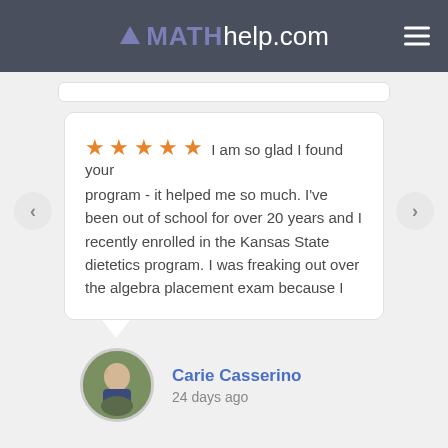MATHhelp.com
I am so glad I found your program - it helped me so much. I've been out of school for over 20 years and I recently enrolled in the Kansas State dietetics program. I was freaking out over the algebra placement exam because I
Carie Casserino
24 days ago